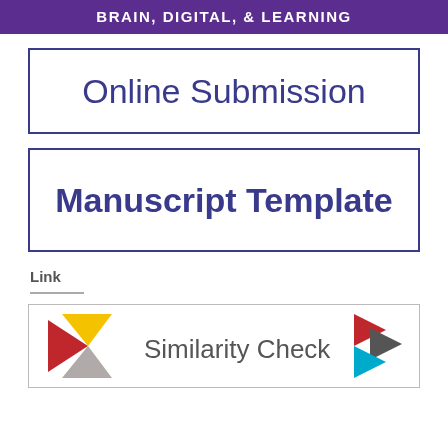BRAIN, DIGITAL, & LEARNING
Online Submission
Manuscript Template
Link
[Figure (logo): Similarity Check logo with two arrow/chevron shapes made of colored triangles (yellow, red, grey) flanking the text 'Similarity Check']